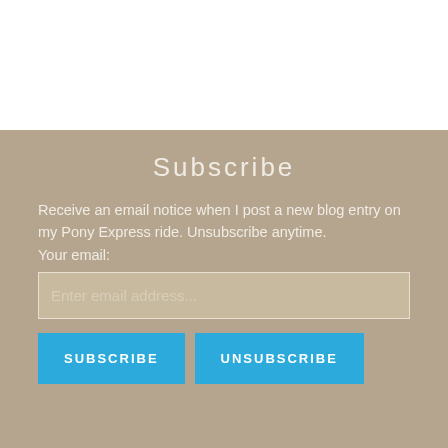Subscribe
Receive an email notice when I post a new blog entry on my Pony Express ride. Unsubscribe anytime.
Your email:
[Figure (screenshot): Email input field with placeholder text 'Enter email address...']
[Figure (screenshot): Two blue buttons: SUBSCRIBE and UNSUBSCRIBE]
Connect
[Figure (illustration): Three social media icons: Twitter bird, Facebook circle, Instagram camera]